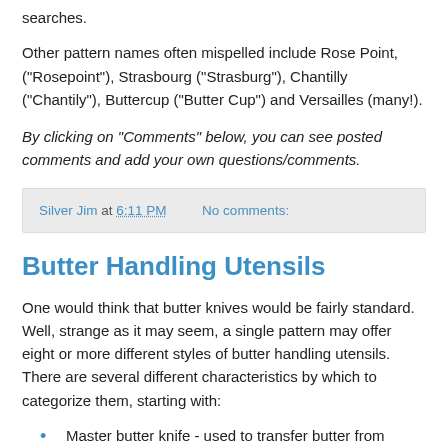searches.
Other pattern names often mispelled include Rose Point, ("Rosepoint"), Strasbourg ("Strasburg"), Chantilly ("Chantily"), Buttercup ("Butter Cup") and Versailles (many!).
By clicking on "Comments" below, you can see posted comments and add your own questions/comments.
Silver Jim at 6:11 PM    No comments:
Butter Handling Utensils
One would think that butter knives would be fairly standard. Well, strange as it may seem, a single pattern may offer eight or more different styles of butter handling utensils. There are several different characteristics by which to categorize them, starting with:
Master butter knife - used to transfer butter from